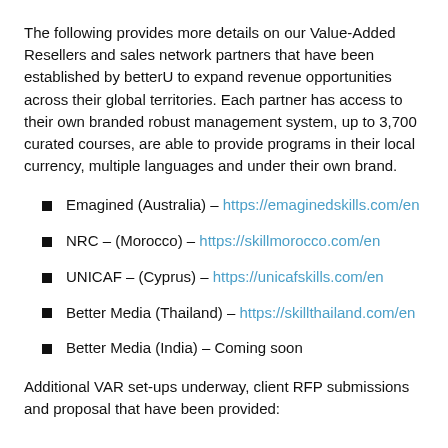The following provides more details on our Value-Added Resellers and sales network partners that have been established by betterU to expand revenue opportunities across their global territories. Each partner has access to their own branded robust management system, up to 3,700 curated courses, are able to provide programs in their local currency, multiple languages and under their own brand.
Emagined (Australia) – https://emaginedskills.com/en
NRC – (Morocco) – https://skillmorocco.com/en
UNICAF – (Cyprus) – https://unicafskills.com/en
Better Media (Thailand) – https://skillthailand.com/en
Better Media (India) – Coming soon
Additional VAR set-ups underway, client RFP submissions and proposal that have been provided: